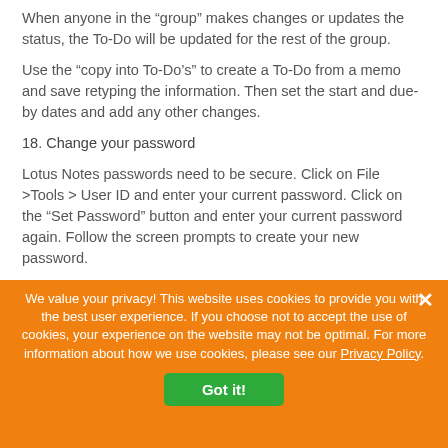When anyone in the “group” makes changes or updates the status, the To-Do will be updated for the rest of the group.
Use the “copy into To-Do’s” to create a To-Do from a memo and save retyping the information. Then set the start and due-by dates and add any other changes.
18. Change your password
Lotus Notes passwords need to be secure. Click on File >Tools > User ID and enter your current password. Click on the “Set Password” button and enter your current password again. Follow the screen prompts to create your new password.
19. Lock your PC
We value your privacy! This website uses cookies to provide you with the best user experience. If you choose not to accept the use of cookies, your experience on the website may not be optimal. For more information about how we use cookies, please see our Privacy Policy.
Got it!